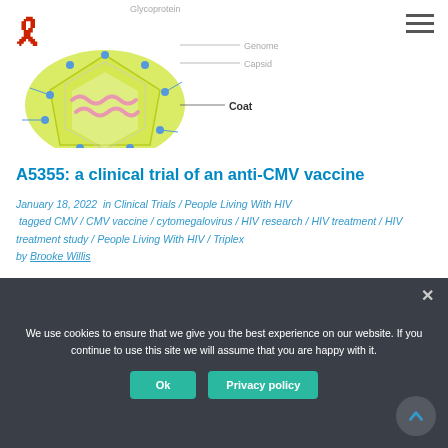[Figure (illustration): Partial view of a virus diagram (CMV/herpesvirus schematic) showing labeled parts: Glycoprotein, Genome, Capsid, Coat. The virus has a yellow-green spherical body with pink wavy lines inside and blue spike-like protrusions. Labels with leader lines point to each component.]
A5355: a clinical trial of an anti-CMV vaccine
January 18, 2022  in  Clinical Trials / People Living With HIV  tagged  CMV / CMV vaccine / cytomegalovirus / HIV research / HIV treatment / HIV treatment study / People Living With HIV / Triplex  by  Brooke Willis
We use cookies to ensure that we give you the best experience on our website. If you continue to use this site we will assume that you are happy with it.